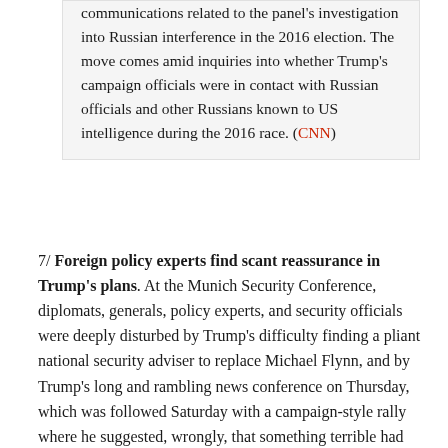communications related to the panel's investigation into Russian interference in the 2016 election. The move comes amid inquiries into whether Trump's campaign officials were in contact with Russian officials and other Russians known to US intelligence during the 2016 race. (CNN)
7/ Foreign policy experts find scant reassurance in Trump's plans. At the Munich Security Conference, diplomats, generals, policy experts, and security officials were deeply disturbed by Trump's difficulty finding a pliant national security adviser to replace Michael Flynn, and by Trump's long and rambling news conference on Thursday, which was followed Saturday with a campaign-style rally where he suggested, wrongly, that something terrible had happened in Sweden. Pence, who carried a direct message of reassurance from Trump, could not manage to comfort many of the experts. (New York Times)